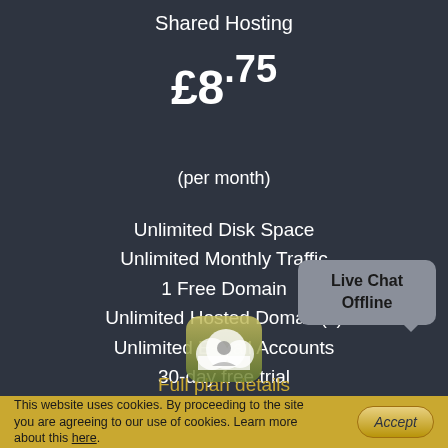Shared Hosting
£8.75
(per month)
Unlimited Disk Space
Unlimited Monthly Traffic
1 Free Domain
Unlimited Hosted Domain(s)
Unlimited E-mail Accounts
30-day free trial
Full plan details
Start Free Trial
Live Chat Offline
This website uses cookies. By proceeding to the site you are agreeing to our use of cookies. Learn more about this here.